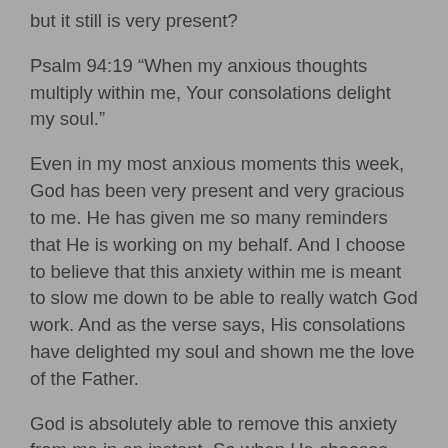but it still is very present?
Psalm 94:19 “When my anxious thoughts multiply within me, Your consolations delight my soul.”
Even in my most anxious moments this week, God has been very present and very gracious to me. He has given me so many reminders that He is working on my behalf. And I choose to believe that this anxiety within me is meant to slow me down to be able to really watch God work. And as the verse says, His consolations have delighted my soul and shown me the love of the Father.
God is absolutely able to remove this anxiety from me in an instant. So when He chooses not to it gives me a chance to evaluate thy “why” and look for the refinement that may be taking place within me.